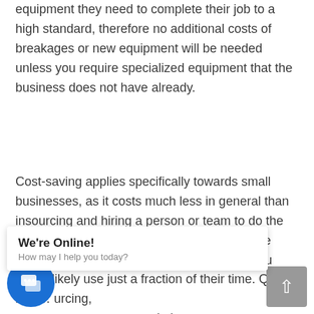equipment they need to complete their job to a high standard, therefore no additional costs of breakages or new equipment will be needed unless you require specialized equipment that the business does not have already.
Cost-saving applies specifically towards small businesses, as it costs much less in general than insourcing and hiring a person or team to do the work for you as you aren't paying them for the whole financial year, just a fraction of it as you would likely use just a fraction of their time. Quality is al… urcing, se… kely